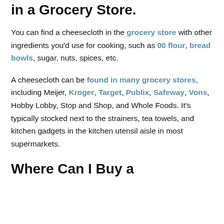in a Grocery Store.
You can find a cheesecloth in the grocery store with other ingredients you'd use for cooking, such as 00 flour, bread bowls, sugar, nuts, spices, etc.
A cheesecloth can be found in many grocery stores, including Meijer, Kroger, Target, Publix, Safeway, Vons, Hobby Lobby, Stop and Shop, and Whole Foods. It's typically stocked next to the strainers, tea towels, and kitchen gadgets in the kitchen utensil aisle in most supermarkets.
Where Can I Buy a